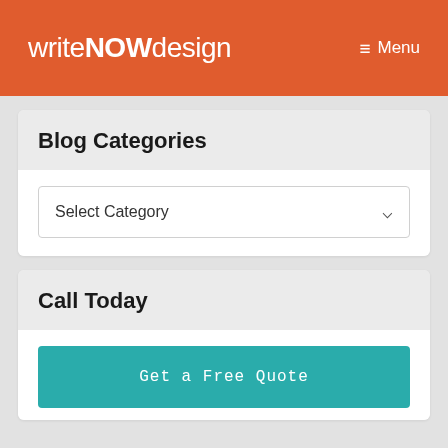writeNOWdesign   ≡ Menu
Blog Categories
Select Category
Call Today
Get a Free Quote